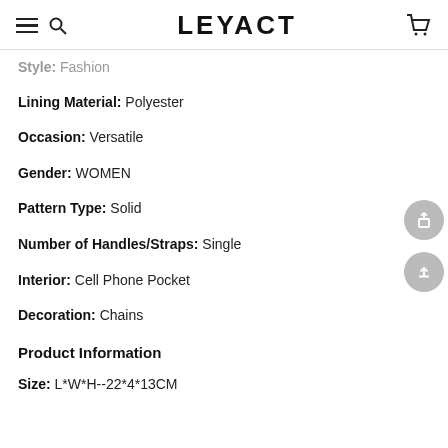LEYACT
Style: Fashion
Lining Material: Polyester
Occasion: Versatile
Gender: WOMEN
Pattern Type: Solid
Number of Handles/Straps: Single
Interior: Cell Phone Pocket
Decoration: Chains
Product Information
Size: L*W*H--22*4*13CM